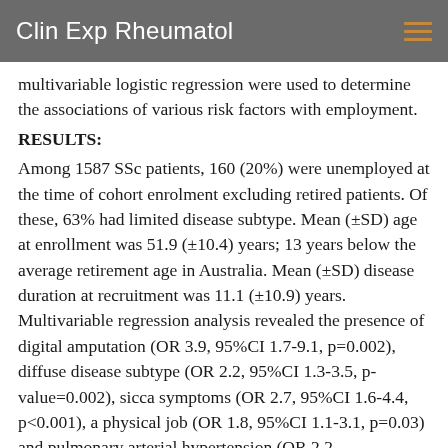Clin Exp Rheumatol
multivariable logistic regression were used to determine the associations of various risk factors with employment.
RESULTS:
Among 1587 SSc patients, 160 (20%) were unemployed at the time of cohort enrolment excluding retired patients. Of these, 63% had limited disease subtype. Mean (±SD) age at enrollment was 51.9 (±10.4) years; 13 years below the average retirement age in Australia. Mean (±SD) disease duration at recruitment was 11.1 (±10.9) years. Multivariable regression analysis revealed the presence of digital amputation (OR 3.9, 95%CI 1.7-9.1, p=0.002), diffuse disease subtype (OR 2.2, 95%CI 1.3-3.5, p-value=0.002), sicca symptoms (OR 2.7, 95%CI 1.6-4.4, p<0.001), a physical job (OR 1.8, 95%CI 1.1-3.1, p=0.03) and pulmonary arterial hypertension (OR 2.2,